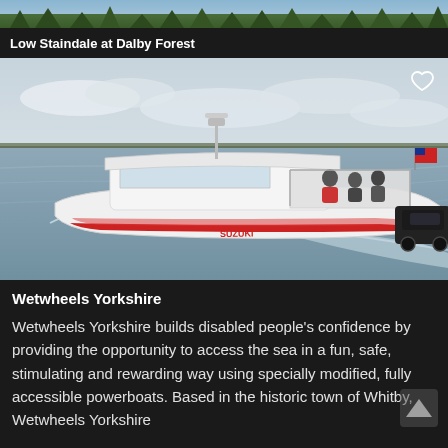[Figure (photo): Cropped top strip of a forest/nature scene in greens and grays]
Low Staindale at Dalby Forest
[Figure (photo): A white powerboat branded Suzuki speeding across water with several passengers aboard, a red flag at the stern and dark SUV on the right edge; overcast sky and distant shoreline in background. A heart/favourite icon appears top-right corner.]
Wetwheels Yorkshire
Wetwheels Yorkshire builds disabled people's confidence by providing the opportunity to access the sea in a fun, safe, stimulating and rewarding way using specially modified, fully accessible powerboats. Based in the historic town of Whitby, Wetwheels Yorkshire